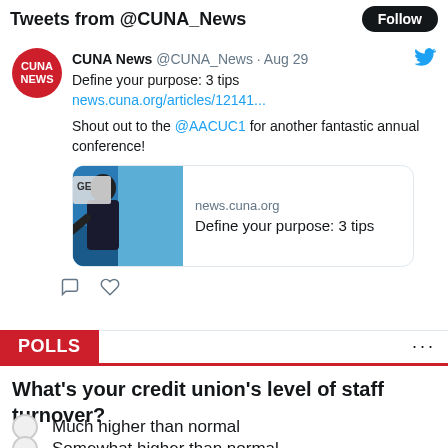Tweets from @CUNA_News
[Figure (screenshot): CUNA News tweet from @CUNA_News dated Aug 29. Text: 'Define your purpose: 3 tips news.cuna.org/articles/12141... Shout out to the @AACUC1 for another fantastic annual conference!' with a link card showing news.cuna.org and 'Define your purpose: 3 tips']
POLLS
What's your credit union's level of staff turnover?
Much higher than normal
Somewhat higher than normal